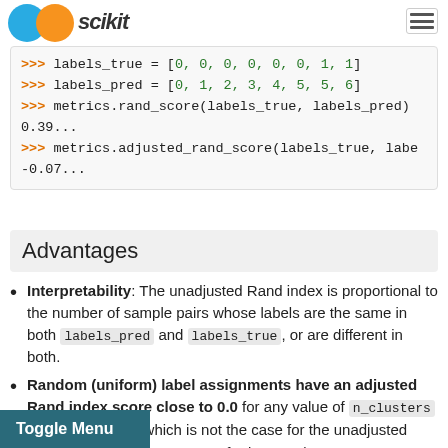scikit-learn logo and hamburger menu
>>> labels_true = [0, 0, 0, 0, 0, 0, 1, 1]
>>> labels_pred = [0, 1, 2, 3, 4, 5, 5, 6]
>>> metrics.rand_score(labels_true, labels_pred)
0.39...
>>> metrics.adjusted_rand_score(labels_true, labe
-0.07...
Advantages
Interpretability: The unadjusted Rand index is proportional to the number of sample pairs whose labels are the same in both labels_pred and labels_true, or are different in both.
Random (uniform) label assignments have an adjusted Rand index score close to 0.0 for any value of n_clusters and n_samples (which is not the case for the unadjusted Rand index or the V-measure for instance).
ange: Lower values indicate different
Toggle Menu